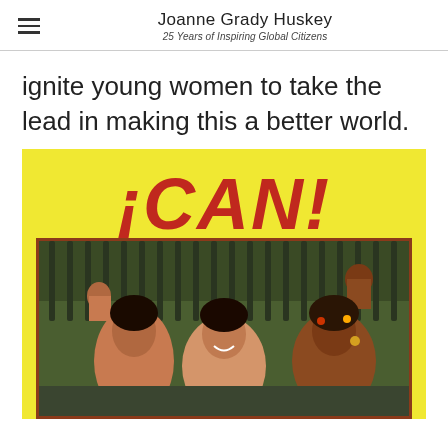Joanne Grady Huskey
25 Years of Inspiring Global Citizens
ignite young women to take the lead in making this a better world.
[Figure (photo): Book cover with bright yellow background showing the title '¡CAN!' in large bold red italic text, with a photograph below of three young women smiling and raising their fists in empowerment, standing in front of an iron fence]